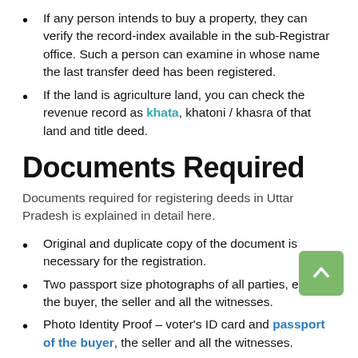If any person intends to buy a property, they can verify the record-index available in the sub-Registrar office. Such a person can examine in whose name the last transfer deed has been registered.
If the land is agriculture land, you can check the revenue record as khata, khatoni / khasra of that land and title deed.
Documents Required
Documents required for registering deeds in Uttar Pradesh is explained in detail here.
Original and duplicate copy of the document is necessary for the registration.
Two passport size photographs of all parties, each of the buyer, the seller and all the witnesses.
Photo Identity Proof – voter's ID card and passport of the buyer, the seller and all the witnesses.
Certified copies of Certificate of Incorporation of both seller and buyer in case of a company and not an individual buyer.